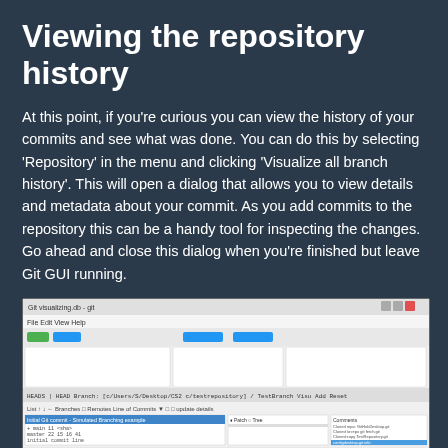Viewing the repository history
At this point, if you're curious you can view the history of your commits and see what was done. You can do this by selecting 'Repository' in the menu and clicking 'Visualize all branch history'. This will open a dialog that allows you to view details and metadata about your commit. As you add commits to the repository this can be a handy tool for inspecting the changes. Go ahead and close this dialog when you're finished but leave Git GUI running.
[Figure (screenshot): Screenshot of Git GUI application showing the Visualize All Branch History dialog with commit history, file changes panel, and commit metadata on a Windows desktop application.]